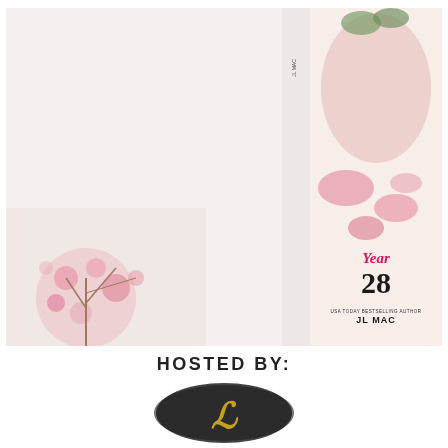[Figure (illustration): Book cover spread for 'Year 28' by JL Mac. Left side (back cover) shows text description of the book on a light background with pink cherry blossom photo at bottom. Spine shows title 'Year 28' and author 'JL Mac'. Front cover shows a couple about to kiss surrounded by pink magnolia flowers, with cursive 'Year' and bold '28' typography, plus 'USA Today Bestselling Author JL MAC' at bottom.]
Felip Broussard. He's the handsome, golden boy. To the residents of sleepy, southern Palmetto Grove he's a war hero, and a modern-day saint. His view of him does not quite align with the one they hold.
to me I couldn't stand him.
At fifteen I hated him deeply.
As seventeen I found him completely.
At eighteen I despised him passionately.
At twenty-eight well, it's complicated.
I have been lost. Not staying in another time zone, keeping my focus on track and off my past. I would prefer to remain in the office. Anything to stay professional reputation but my sister has called me home to attend her wedding where I know I will see him again.
I still hate him but I'd love you to skid to a stop on my moped past present has been the awful truth, keeping my secret to the past is difficult and putting one of the past I made is harder still.
Not loving Felip Broussard like everyone else in our hometown is impossible.
Harper Porter. She's the former love of my life and the pain of Palmetto was turned into an in-queen. She's been living it up on the east coast in her designer threads and pretty self. I'm thinking she won't think she's so high and mighty when she's forced to face me after a decade of cold silence.
Ten years ago she walked away from me without explanation. But before making me one big promise. She made a vow and I'm going to hold her to it. I'd thought I had forgotten it, the thought wrong.
HOSTED BY:
[Figure (logo): Circular dark grey/black brushstroke logo with gold/yellow letter 'L' styled in an ornate script, forming a publisher or blog host logo.]